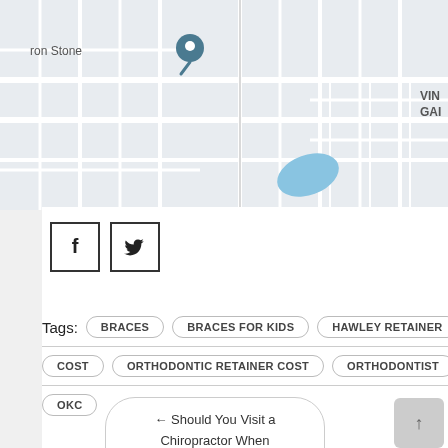[Figure (map): Google Maps screenshot showing neighborhood names SEMINOLE POINTE, SILVER CREEK, VIN GAI, ron Stone area with a location pin marker, roads, and a small blue water body.]
[Figure (infographic): Social media share buttons: Facebook (f) icon and Twitter (bird) icon, each in a square border box.]
Tags: BRACES   BRACES FOR KIDS   HAWLEY RETAINER COST   ORTHODONTIC RETAINER COST   ORTHODONTIST   OKC
← Should You Visit a Chiropractor When Pregnant?